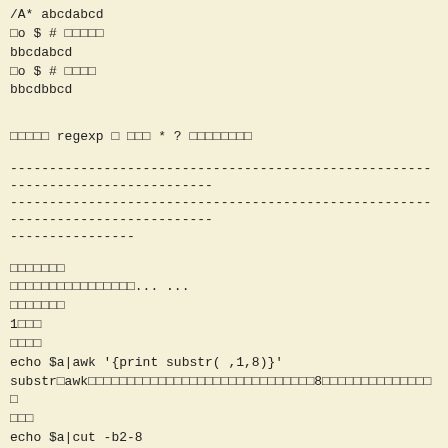/A* abcdabcd
□o $ # □□□□□
bbcdabcd
□o $ # □□□□
bbcdbbcd
□□□□□ regexp □ □□□ * ? □□□□□□□□
--------------------------------------------------------------------------------
--------------------------------------------------------------------------------
----------------
□□□□□□□
□□□□□□□□□□□□□□□□... ...
□□□□□□□
1□□□
□□□□
echo $a|awk '{print substr( ,1,8)}'
substr□awk□□□□□□□□□□□□□□□□□□□□□□□□□□□□□8□□□□□□□□□□□□□□□
□□□
echo $a|cut -b2-8
cut□□□□□□□□□□□□□□